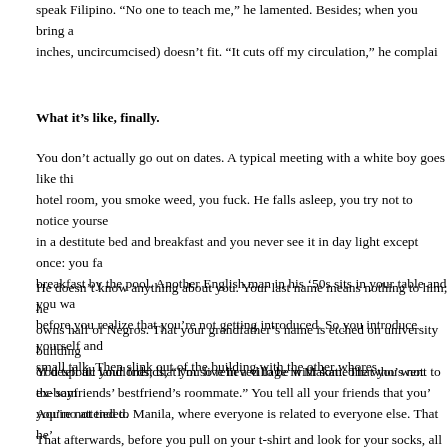speak Filipino. “No one to teach me,” he lamented. Besides; when you bring a inches, uncircumcised) doesn’t fit. “It cuts off my circulation,” he complai
What it’s like, finally.
You don’t actually go out on dates. A typical meeting with a white boy goes like thi hotel room, you smoke weed, you fuck. He falls asleep, you try not to notice yourse in a destitute bed and breakfast and you never see it in day light except once: you fa breakfast by the pool. Another English man in his ’50s sits in your table and you wa before you realize that you’re not getting introduced. So you introduce yourself and small talk. Then slink out of the building with the other whores.
He doesn’t know anything about you. Your last name means nothing to him; he owns half of Negros. That your grandfather’s name is etched on university building of despotic landlords, that you live in a village in Makati. That you went to the sam Aquino attended.
You tell all your friends, “I’m so relieved to be with someone who’s not ex-boyfriends’ bestfriend’s roommate.” You tell all your friends that you’ you’re not tied to Manila, where everyone is related to everyone else. That he’
That afterwards, before you pull on your t-shirt and look for your socks, all there is